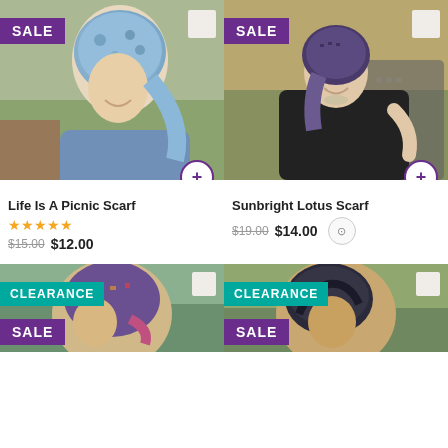[Figure (photo): Woman wearing a blue floral head scarf, side profile, smiling, with a SALE badge and color swatch]
[Figure (photo): Woman wearing a purple/navy head scarf and black shirt, seated outdoors, smiling, with a SALE badge and color swatch]
Life Is A Picnic Scarf
★★★★★
$15.00  $12.00
Sunbright Lotus Scarf
$19.00  $14.00
[Figure (photo): Person wearing a colorful head wrap, CLEARANCE SALE badge visible, partial view]
[Figure (photo): Person wearing a dark head covering, CLEARANCE SALE badge visible, partial view]